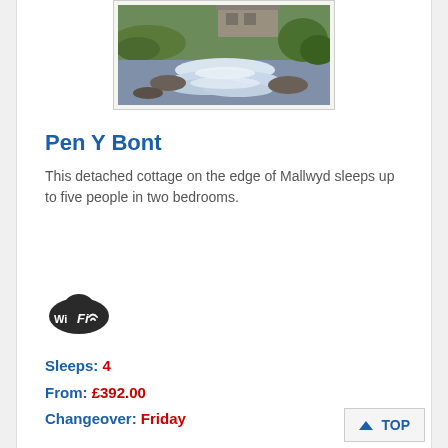[Figure (photo): Photograph of a stone cottage near a waterfall with mossy rocks and flowing water, surrounded by green vegetation. The image is partially cropped at top, showing mainly the waterfall and river area.]
Pen Y Bont
This detached cottage on the edge of Mallwyd sleeps up to five people in two bedrooms.
[Figure (logo): WiFi logo — black cloud-shaped badge with 'Wi Fi' text in white]
Sleeps: 4
From: £392.00
Changeover: Friday